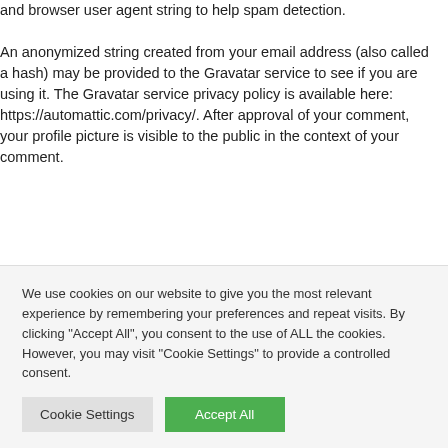and browser user agent string to help spam detection.
An anonymized string created from your email address (also called a hash) may be provided to the Gravatar service to see if you are using it. The Gravatar service privacy policy is available here: https://automattic.com/privacy/. After approval of your comment, your profile picture is visible to the public in the context of your comment.
Media
If you upload images to the website, you should avoid uploading
We use cookies on our website to give you the most relevant experience by remembering your preferences and repeat visits. By clicking "Accept All", you consent to the use of ALL the cookies. However, you may visit "Cookie Settings" to provide a controlled consent.